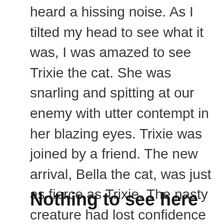heard a hissing noise. As I tilted my head to see what it was, I was amazed to see Trixie the cat. She was snarling and spitting at our enemy with utter contempt in her blazing eyes. Trixie was joined by a friend. The new arrival, Bella the cat, was just as fierce as Trixie. The nasty creature had lost confidence and moved backwards. Me and the girls all moved forward together, which worried the intruder even more. It just turned and trotted away. Gratefully, we then headed for home.
Nothing to see here